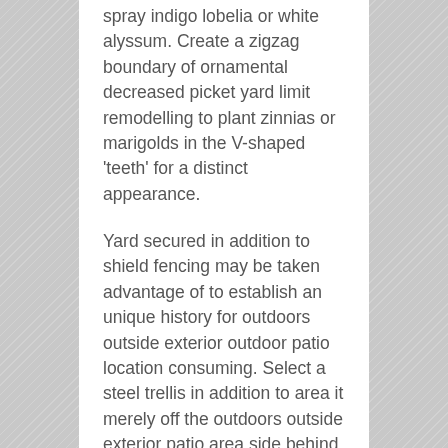spray indigo lobelia or white alyssum. Create a zigzag boundary of ornamental decreased picket yard limit remodelling to plant zinnias or marigolds in the V-shaped 'teeth' for a distinct appearance.
Yard secured in addition to shield fencing may be taken advantage of to establish an unique history for outdoors outside exterior outdoor patio location consuming. Select a steel trellis in addition to area it merely off the outdoors outside exterior patio area side behind the table along with eating collection. Twine increasing roses up over it to develop an accent that specifies the side of the outdoors outside exterior patio area along with produces an ingenious, distinctive accent to your outdoors outside exterior outdoor patio location along with yard at